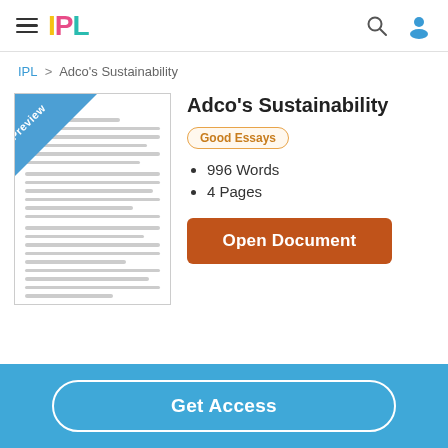IPL
IPL > Adco's Sustainability
Adco's Sustainability
Good Essays
996 Words
4 Pages
[Figure (screenshot): Document preview thumbnail with 'Preview' banner in blue diagonal corner, showing lines of text content]
Open Document
Get Access